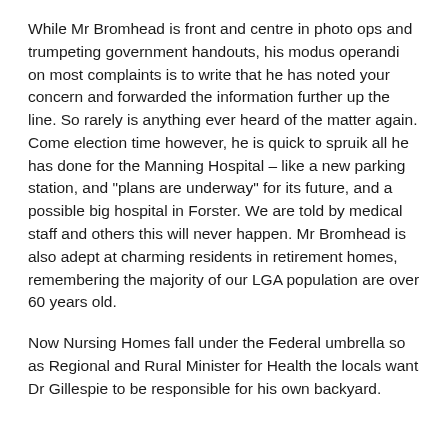While Mr Bromhead is front and centre in photo ops and trumpeting government handouts, his modus operandi on most complaints is to write that he has noted your concern and forwarded the information further up the line. So rarely is anything ever heard of the matter again. Come election time however, he is quick to spruik all he has done for the Manning Hospital – like a new parking station, and "plans are underway" for its future, and a possible big hospital in Forster. We are told by medical staff and others this will never happen. Mr Bromhead is also adept at charming residents in retirement homes, remembering the majority of our LGA population are over 60 years old.
Now Nursing Homes fall under the Federal umbrella so as Regional and Rural Minister for Health the locals want Dr Gillespie to be responsible for his own backyard.